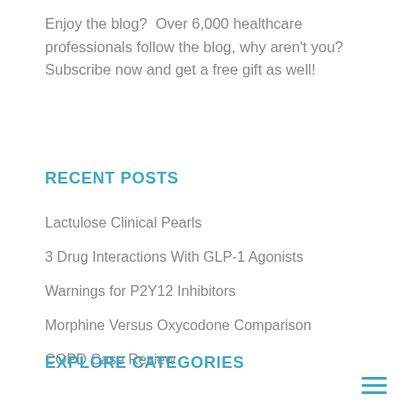Enjoy the blog?  Over 6,000 healthcare professionals follow the blog, why aren't you? Subscribe now and get a free gift as well!
RECENT POSTS
Lactulose Clinical Pearls
3 Drug Interactions With GLP-1 Agonists
Warnings for P2Y12 Inhibitors
Morphine Versus Oxycodone Comparison
COPD Case Review
EXPLORE CATEGORIES